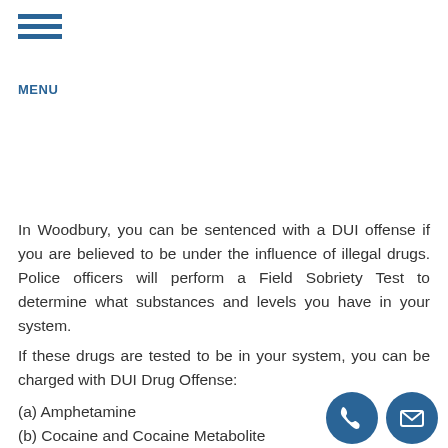[Figure (logo): Hamburger menu icon with three horizontal blue lines and MENU label below]
In Woodbury, you can be sentenced with a DUI offense if you are believed to be under the influence of illegal drugs. Police officers will perform a Field Sobriety Test to determine what substances and levels you have in your system.
If these drugs are tested to be in your system, you can be charged with DUI Drug Offense:
(a) Amphetamine
(b) Cocaine and Cocaine Metabolite
[Figure (illustration): Two circular blue contact icons: phone handset and envelope/email]